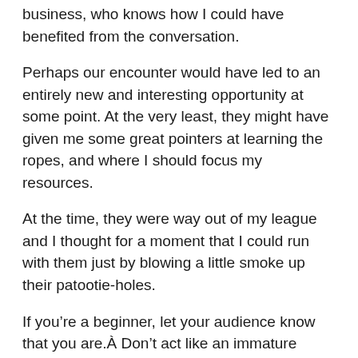business, who knows how I could have benefited from the conversation.
Perhaps our encounter would have led to an entirely new and interesting opportunity at some point. At the very least, they might have given me some great pointers at learning the ropes, and where I should focus my resources.
At the time, they were way out of my league and I thought for a moment that I could run with them just by blowing a little smoke up their patootie-holes.
If you’re a beginner, let your audience know that you are.Â Don’t act like an immature moron like I did!
For example, with internet business you could frame your own blog as a ‘learning together’ experience where you share your ups and downs on the journey so that others can learn with you.